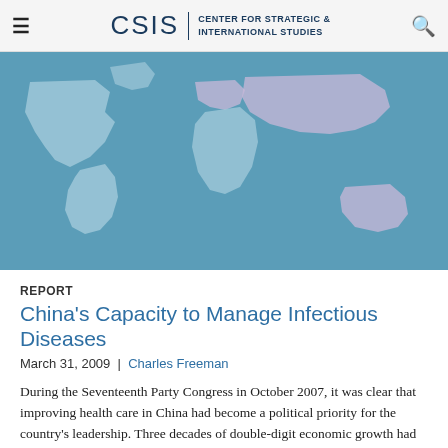CSIS | CENTER FOR STRATEGIC & INTERNATIONAL STUDIES
[Figure (map): World map illustration with blue background and light-colored continents, used as a decorative banner image for the CSIS report page.]
REPORT
China's Capacity to Manage Infectious Diseases
March 31, 2009 | Charles Freeman
During the Seventeenth Party Congress in October 2007, it was clear that improving health care in China had become a political priority for the country's leadership. Three decades of double-digit economic growth had not been matched by progress in China's ability...